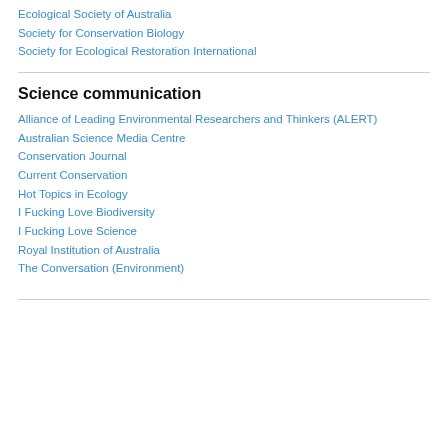Ecological Society of Australia
Society for Conservation Biology
Society for Ecological Restoration International
Science communication
Alliance of Leading Environmental Researchers and Thinkers (ALERT)
Australian Science Media Centre
Conservation Journal
Current Conservation
Hot Topics in Ecology
I Fucking Love Biodiversity
I Fucking Love Science
Royal Institution of Australia
The Conversation (Environment)